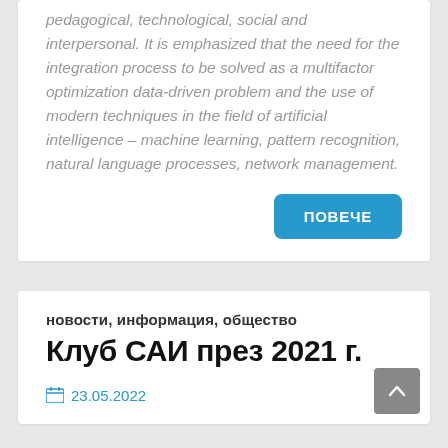pedagogical, technological, social and interpersonal. It is emphasized that the need for the integration process to be solved as a multifactor optimization data-driven problem and the use of modern techniques in the field of artificial intelligence – machine learning, pattern recognition, natural language processes, network management.
ПОВЕЧЕ
новости, информация, общество
Клуб САИ през 2021 г.
23.05.2022